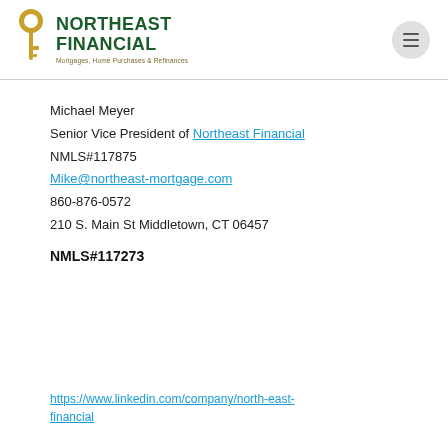[Figure (logo): Northeast Financial logo with golden key icon and green text. Tagline: Mortgages, Home Purchases & Refinances]
Michael Meyer
Senior Vice President of Northeast Financial
NMLS#117875
Mike@northeast-mortgage.com
860-876-0572
210 S. Main St Middletown, CT 06457
NMLS#117273
https://www.linkedin.com/company/north-east-financial